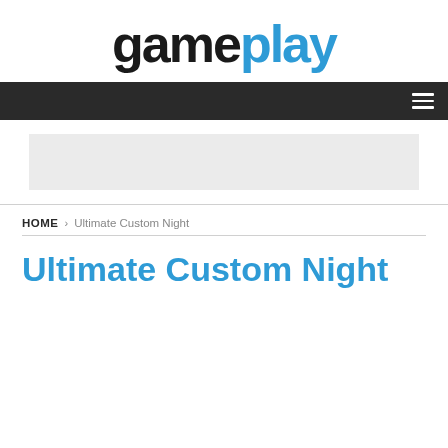[Figure (logo): gameplay logo with 'game' in black bold and 'play' in blue bold, large sans-serif font]
Navigation bar with hamburger menu icon
[Figure (other): Light gray rectangular advertisement banner]
HOME > Ultimate Custom Night
Ultimate Custom Night